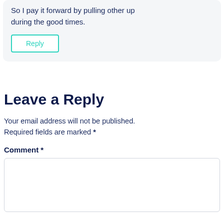≡ (navigation menu icon)
So I pay it forward by pulling other up during the good times.
Reply
Leave a Reply
Your email address will not be published. Required fields are marked *
Comment *